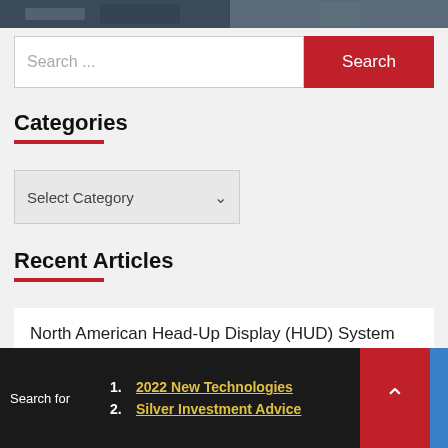[Figure (photo): Partial view of a person in a dark outfit, cropped image strip at top of page]
Search ...
Search
Categories
Select Category
Recent Articles
North American Head-Up Display (HUD) System Market Growth Opportunities to 2030 – ResearchAndMarkets.com
Search for  1. 2022 New Technologies  2. Silver Investment Advice